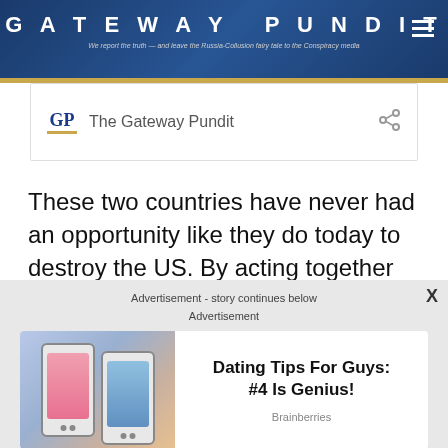GATEWAY PUNDIT - We report the truth — and leave the Russia-Collusion fairy tale to the Conspiracy media
[Figure (logo): GP logo with The Gateway Pundit text and share icon]
These two countries have never had an opportunity like they do today to destroy the US. By acting together they are a formidable foe for the US after only one year with Biden in power.
Advertisement - story continues below
Advertisement
[Figure (photo): Ad showing two phones with dating app profiles, promoting 'Dating Tips For Guys: #4 Is Genius!' from Brainberries]